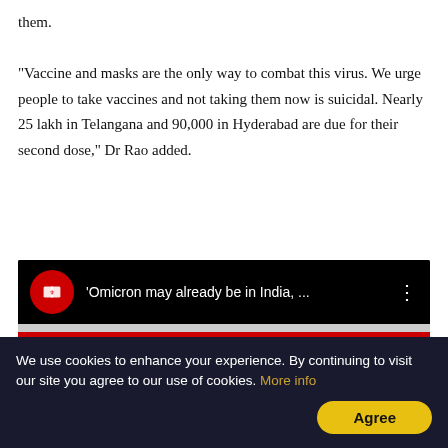them.

"Vaccine and masks are the only way to combat this virus. We urge people to take vaccines and not taking them now is suicidal. Nearly 25 lakh in Telangana and 90,000 in Hyderabad are due for their second dose," Dr Rao added.
[Figure (screenshot): YouTube video embed with red circle channel icon, title 'Omicron may already be in India, ...' on black background, red horizontal bar, and a partial image of a person below with large overlay text beginning 'CONVERSATION WITH']
We use cookies to enhance your experience. By continuing to visit our site you agree to our use of cookies. More info